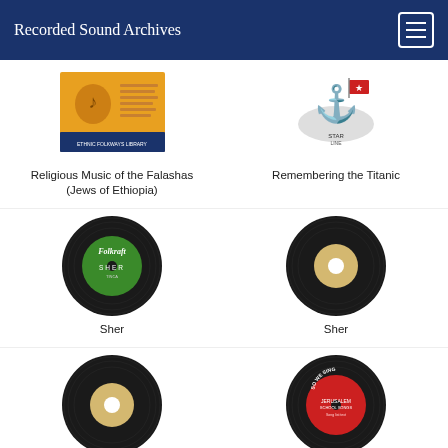Recorded Sound Archives
[Figure (illustration): Album cover for Religious Music of the Falashas (Jews of Ethiopia) — Ethnic Folkways Library]
Religious Music of the Falashas (Jews of Ethiopia)
[Figure (illustration): Illustration of a ship with a star, for Remembering the Titanic]
Remembering the Titanic
[Figure (illustration): Folkraft green vinyl record label - Sher]
Sher
[Figure (illustration): Black vinyl 45 rpm record with yellow/tan label - Sher]
Sher
[Figure (illustration): Black vinyl 45 rpm record with yellow/tan label - Shulamith (Vocal Solo in Hebrew)]
Shulamith (Vocal Solo in Hebrew)
[Figure (illustration): Red vinyl record label - So We Sing - Side 3: Birthday of the Trees, Le Us ...]
So We Sing - Side 3: Birthday of the Trees, Le Us ...